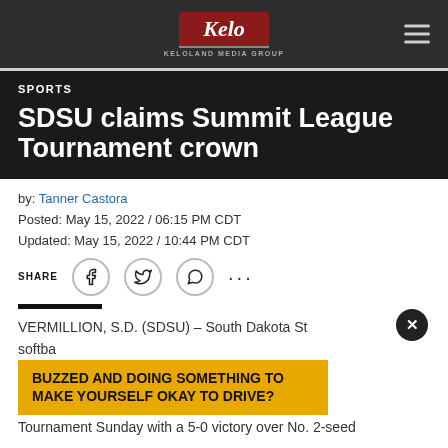KELOLAND MEDIA GROUP
SPORTS
SDSU claims Summit League Tournament crown
by: Tanner Castora
Posted: May 15, 2022 / 06:15 PM CDT
Updated: May 15, 2022 / 10:44 PM CDT
SHARE
VERMILLION, S.D. (SDSU) – South Dakota State softball
BUZZED AND DOING SOMETHING TO MAKE YOURSELF OKAY TO DRIVE?
Tournament Sunday with a 5-0 victory over No. 2-seed